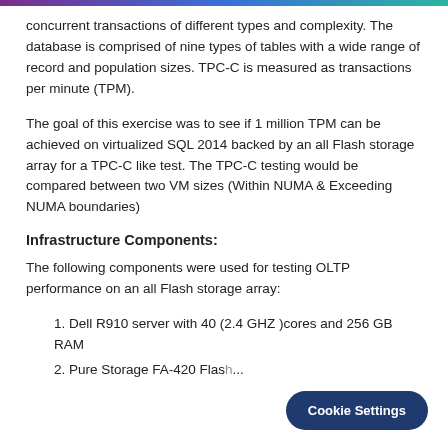concurrent transactions of different types and complexity. The database is comprised of nine types of tables with a wide range of record and population sizes. TPC-C is measured as transactions per minute (TPM).
The goal of this exercise was to see if 1 million TPM can be achieved on virtualized SQL 2014 backed by an all Flash storage array for a TPC-C like test. The TPC-C testing would be compared between two VM sizes (Within NUMA & Exceeding NUMA boundaries)
Infrastructure Components:
The following components were used for testing OLTP performance on an all Flash storage array:
1. Dell R910 server with 40 (2.4 GHZ )cores and 256 GB RAM
2. Pure Storage FA-420 Flash...